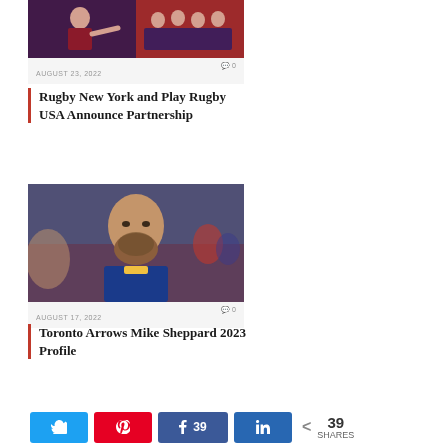[Figure (photo): Rugby team photo collage — player pointing and team group shot]
AUGUST 23, 2022  💬 0
Rugby New York and Play Rugby USA Announce Partnership
[Figure (photo): Bald bearded rugby player in blue and gold jersey, close-up during match]
AUGUST 17, 2022  💬 0
Toronto Arrows Mike Sheppard 2023 Profile
[Figure (photo): Partial third article photo — partially visible at bottom]
Twitter  Pin  Facebook 39  LinkedIn  < 39 SHARES